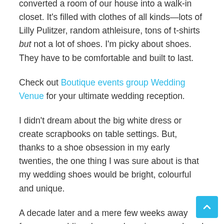converted a room of our house into a walk-in closet. It's filled with clothes of all kinds—lots of Lilly Pulitzer, random athleisure, tons of t-shirts but not a lot of shoes. I'm picky about shoes. They have to be comfortable and built to last.
Check out Boutique events group Wedding Venue for your ultimate wedding reception.
I didn't dream about the big white dress or create scrapbooks on table settings. But, thanks to a shoe obsession in my early twenties, the one thing I was sure about is that my wedding shoes would be bright, colourful and unique.
A decade later and a mere few weeks away from my wedding day, my dress is pressed, and my dream wedding shoes are box fresh and ready to be